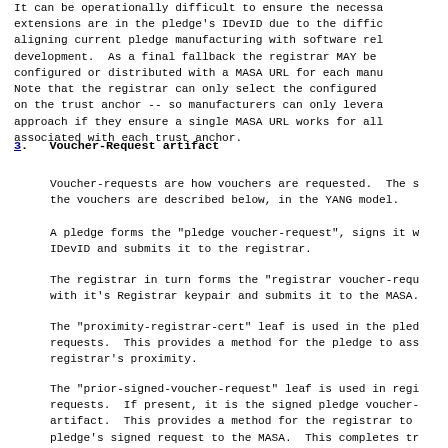It can be operationally difficult to ensure the necessary extensions are in the pledge's IDevID due to the difficulty aligning current pledge manufacturing with software release development.  As a final fallback the registrar MAY be configured or distributed with a MASA URL for each manufacturer. Note that the registrar can only select the configured MASA based on the trust anchor -- so manufacturers can only leverage this approach if they ensure a single MASA URL works for all pledges associated with each trust anchor.
3.  Voucher-Request artifact
Voucher-requests are how vouchers are requested.  The structure of the vouchers are described below, in the YANG model.
A pledge forms the "pledge voucher-request", signs it with its IDevID and submits it to the registrar.
The registrar in turn forms the "registrar voucher-request", signs it with it's Registrar keypair and submits it to the MASA.
The "proximity-registrar-cert" leaf is used in the pledge voucher-requests.  This provides a method for the pledge to assert the registrar's proximity.
The "prior-signed-voucher-request" leaf is used in registrar voucher-requests.  If present, it is the signed pledge voucher-request artifact.  This provides a method for the registrar to forward the pledge's signed request to the MASA.  This completes the chain of the signed "proximity-registrar-cert" leaf.